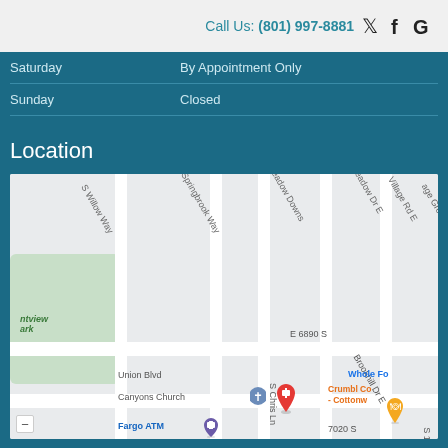Call Us: (801) 997-8881
| Saturday | By Appointment Only |
| Sunday | Closed |
Location
[Figure (map): Google Maps screenshot showing location near E 6890 S, with streets S Willow Way, S Springbrook Way, S Meadow Downs, Meadow Dr E, Village Rd E, Union Blvd, Brookhill Dr E, S Chris Ln, 7020 S. Nearby landmarks: Canyons Church, Fargo ATM, Whole Foods, Crumbl Cookies - Cottonwood. Red location pin visible.]